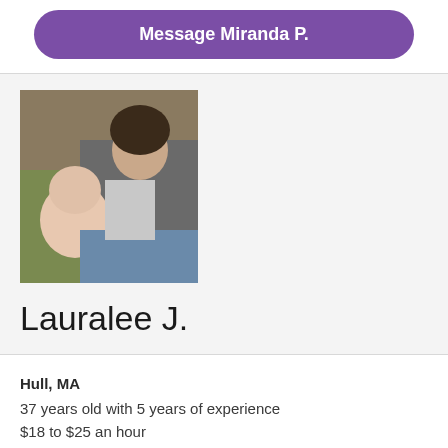Message Miranda P.
[Figure (photo): A woman holding a baby, both smiling, photographed from above.]
Lauralee J.
Hull, MA
37 years old with 5 years of experience
$18 to $25 an hour